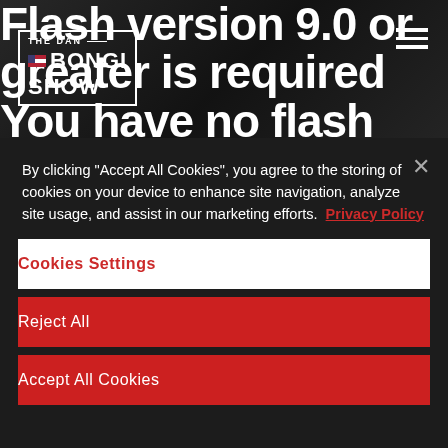[Figure (screenshot): Dark background website header with logo 'The Dan Bongino Show' and hamburger menu icon]
Flash version 9.0 or greater is required You have no flash plugin installed
bans internal Slack channel leaked by Project Veritas. Other messages here
By clicking "Accept All Cookies", you agree to the storing of cookies on your device to enhance site navigation, analyze site usage, and assist in our marketing efforts. Privacy Policy
Cookies Settings
Reject All
Accept All Cookies